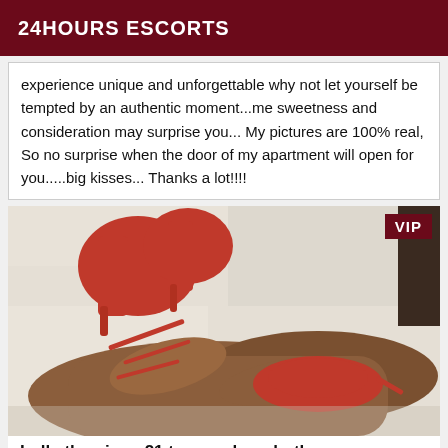24HOURS ESCORTS
experience unique and unforgettable why not let yourself be tempted by an authentic moment...me sweetness and consideration may surprise you... My pictures are 100% real, So no surprise when the door of my apartment will open for you.....big kisses... Thanks a lot!!!!
[Figure (photo): Photo of a woman wearing red high heels and red lingerie, lying on white bedding. A VIP badge appears in the top-right corner of the image.]
Lolly the piggy 21 to smash on both